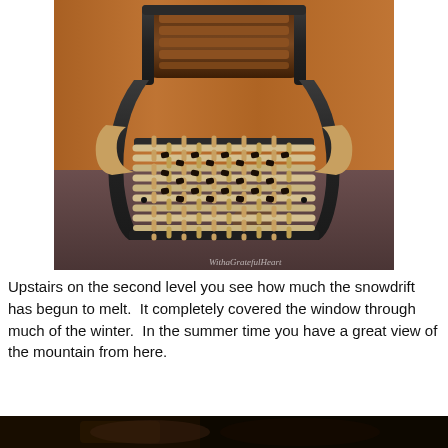[Figure (photo): A wooden and metal rocking chair with woven leather/fabric seat straps in a basket-weave pattern, photographed on a brown/mauve carpet with wood-paneled wall behind. Watermark reads 'WithaGratefulHeart'.]
Upstairs on the second level you see how much the snowdrift has begun to melt.  It completely covered the window through much of the winter.  In the summer time you have a great view of the mountain from here.
[Figure (photo): Partial photo visible at bottom of page, dark tones suggesting an interior or outdoor scene.]